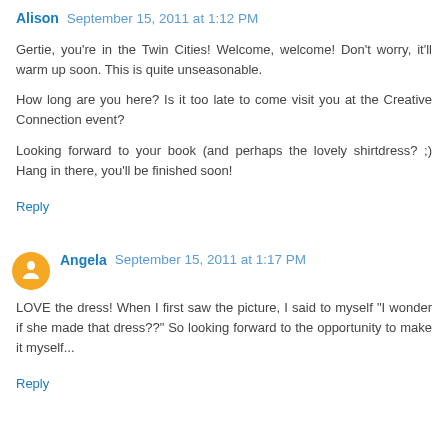Alison September 15, 2011 at 1:12 PM
Gertie, you're in the Twin Cities! Welcome, welcome! Don't worry, it'll warm up soon. This is quite unseasonable.

How long are you here? Is it too late to come visit you at the Creative Connection event?

Looking forward to your book (and perhaps the lovely shirtdress? ;) Hang in there, you'll be finished soon!
Reply
Angela September 15, 2011 at 1:17 PM
LOVE the dress! When I first saw the picture, I said to myself "I wonder if she made that dress??" So looking forward to the opportunity to make it myself...
Reply